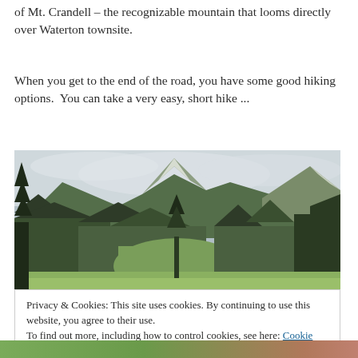of Mt. Crandell – the recognizable mountain that looms directly over Waterton townsite.
When you get to the end of the road, you have some good hiking options.  You can take a very easy, short hike ...
[Figure (photo): Landscape photo showing a mountain valley with snow-capped peaks, evergreen trees in the foreground, and an overcast sky. Mt. Crandell area near Waterton townsite.]
Privacy & Cookies: This site uses cookies. By continuing to use this website, you agree to their use.
To find out more, including how to control cookies, see here: Cookie Policy
Close and accept